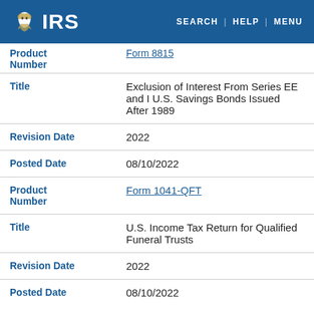IRS — SEARCH | HELP | MENU
| Field | Value |
| --- | --- |
| Product Number | Form 8815 (partial/cut off) |
| Title | Exclusion of Interest From Series EE and I U.S. Savings Bonds Issued After 1989 |
| Revision Date | 2022 |
| Posted Date | 08/10/2022 |
| Product Number | Form 1041-QFT |
| Title | U.S. Income Tax Return for Qualified Funeral Trusts |
| Revision Date | 2022 |
| Posted Date | 08/10/2022 (partial) |